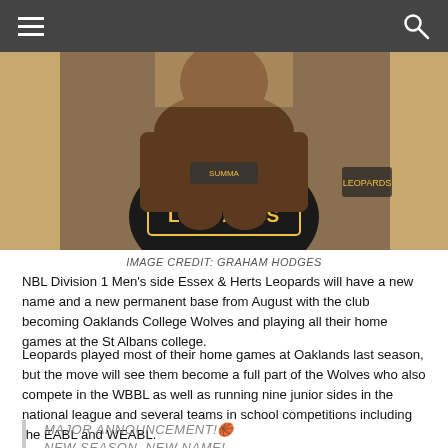[Navigation bar with hamburger menu and search icon]
[Figure (photo): Basketball player wearing a black 'Leopards' jersey, crouching with hands clasped]
IMAGE CREDIT: GRAHAM HODGES
NBL Division 1 Men's side Essex & Herts Leopards will have a new name and a new permanent base from August with the club becoming Oaklands College Wolves and playing all their home games at the St Albans college.
Leopards played most of their home games at Oaklands last season, but the move will see them become a full part of the Wolves who also compete in the WBBL as well as running nine junior sides in the national league and several teams in school competitions including the EABL and WEABL.
MAJOR ANNOUNCEMENT!🏀
NEW SEASON, NEW NAME!